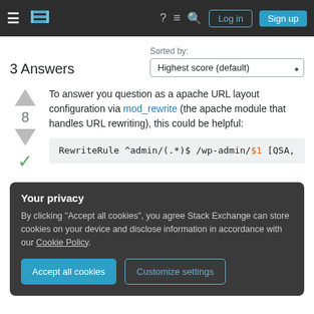Stack Exchange — Log in / Sign up navigation header
3 Answers
Sorted by: Highest score (default)
To answer you question as a apache URL layout configuration via mod_rewrite (the apache module that handles URL rewriting), this could be helpful:
RewriteRule ^admin/(.*)$ /wp-admin/$1 [QSA,
Your privacy
By clicking "Accept all cookies", you agree Stack Exchange can store cookies on your device and disclose information in accordance with our Cookie Policy.
Accept all cookies   Customize settings
If that's the only thing you would like to know, I would...